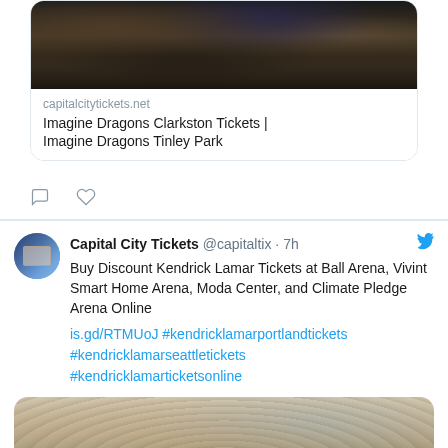[Figure (photo): Crowd of people at a concert, dark silhouetted heads from above]
capitalcitytickets.net
Imagine Dragons Clarkston Tickets | Imagine Dragons Tinley Park
[Figure (illustration): Comment and heart/like action icons]
Capital City Tickets @capitaltix · 7h
Buy Discount Kendrick Lamar Tickets at Ball Arena, Vivint Smart Home Arena, Moda Center, and Climate Pledge Arena Online is.gd/RTMUoJ #kendricklamarportlandtickets #kendricklamarseattletickets #kendricklamarticketsonline
[Figure (photo): Crowd of people at an outdoor event, bright daylight, colorful hats visible]